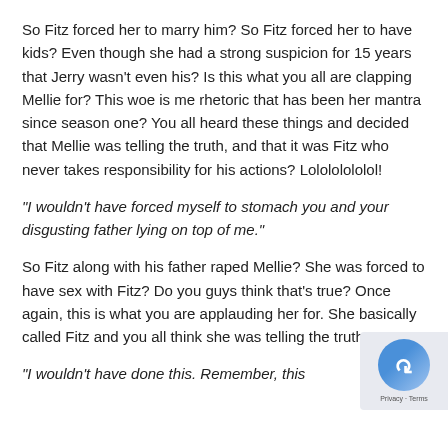So Fitz forced her to marry him? So Fitz forced her to have kids? Even though she had a strong suspicion for 15 years that Jerry wasn't even his? Is this what you all are clapping Mellie for? This woe is me rhetoric that has been her mantra since season one? You all heard these things and decided that Mellie was telling the truth, and that it was Fitz who never takes responsibility for his actions? Lolololololol!
“I wouldn’t have forced myself to stomach you and your disgusting father lying on top of me.”
So Fitz along with his father raped Mellie? She was forced to have sex with Fitz? Do you guys think that’s true? Once again, this is what you are applauding her for. She basically called Fitz and you all think she was telling the truth?
“I wouldn’t have done this. Remember, this...